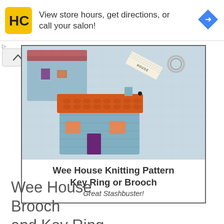[Figure (screenshot): Advertisement banner: HC (Haircuttery) logo on yellow square background, text 'View store hours, get directions, or call your salon!', blue diamond arrow icon on right]
[Figure (photo): Photo of knitted miniature house keyring/brooch made of blue-grey yarn with orange roof and small floral embroidery details, attached to a metal keyring, on a white textured fabric background. Caption reads: 'Wee House Knitting Pattern Key Ring or Brooch – Great Stashbuster!']
Wee House Brooch and Key Ring